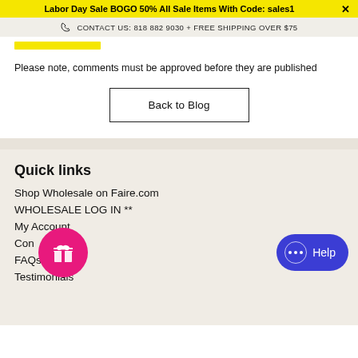Labor Day Sale BOGO 50% All Sale Items With Code: sales1  ✕
CONTACT US: 818 882 9030 + FREE SHIPPING OVER $75
Please note, comments must be approved before they are published
Back to Blog
Quick links
Shop Wholesale on Faire.com
WHOLESALE LOG IN **
My Account
Contact
FAQs
Testimonials